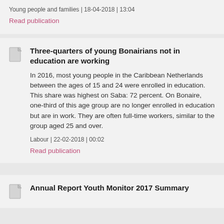Young people and families | 18-04-2018 | 13:04
Read publication
Three-quarters of young Bonairians not in education are working
In 2016, most young people in the Caribbean Netherlands between the ages of 15 and 24 were enrolled in education. This share was highest on Saba: 72 percent. On Bonaire, one-third of this age group are no longer enrolled in education but are in work. They are often full-time workers, similar to the group aged 25 and over.
Labour | 22-02-2018 | 00:02
Read publication
Annual Report Youth Monitor 2017 Summary